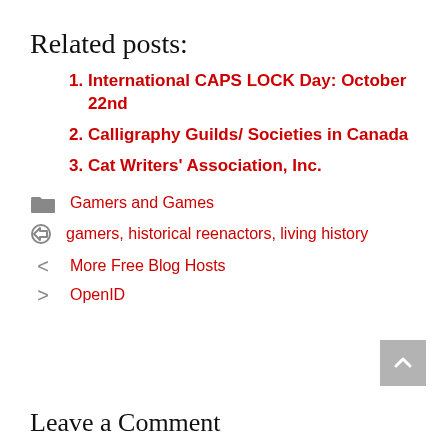Related posts:
International CAPS LOCK Day: October 22nd
Calligraphy Guilds/ Societies in Canada
Cat Writers' Association, Inc.
Gamers and Games
gamers, historical reenactors, living history
More Free Blog Hosts
OpenID
Leave a Comment